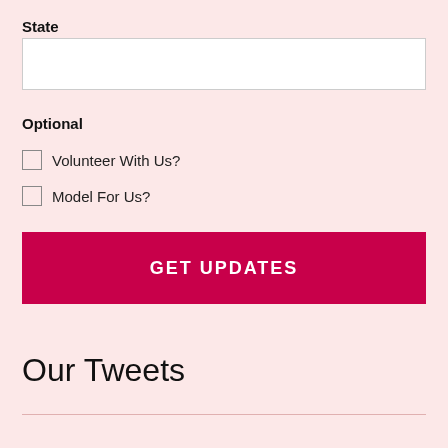State
Optional
Volunteer With Us?
Model For Us?
GET UPDATES
Our Tweets